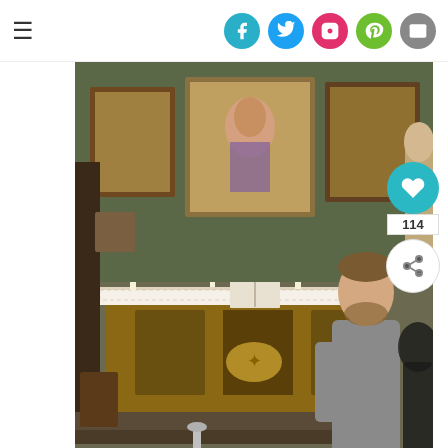≡  [social icons: Facebook, Twitter, Instagram, Pinterest, Email]
[Figure (photo): Interior of the Columbus Chapel showing an ornate altar with religious paintings, candles, an open book, and a decorative lace tablecloth. Rope barriers on silver stanchions surround the altar area. A patterned blue rug is on the floor. A man in a grey shirt and jeans stands to the right, gesturing toward the altar. Wooden furniture and religious artifacts are visible throughout.]
While the Columbus Chapel o... the largest collection of Christopher Columbus artifacts in North America...
A Stay At The Luxurious...